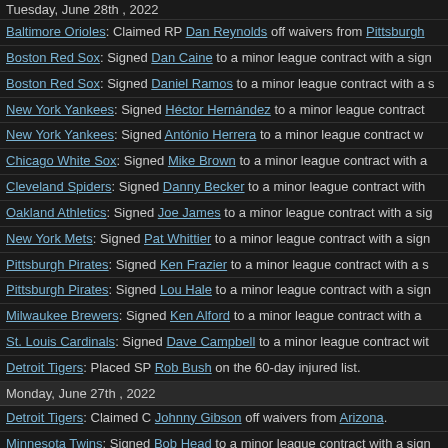Tuesday, June 28th, 2022
Baltimore Orioles: Claimed RP Dan Reynolds off waivers from Pittsburgh
Boston Red Sox: Signed Dan Caine to a minor league contract with a sign
Boston Red Sox: Signed Daniel Ramos to a minor league contract with a s
New York Yankees: Signed Héctor Hernández to a minor league contract
New York Yankees: Signed António Herrera to a minor league contract w
Chicago White Sox: Signed Mike Brown to a minor league contract with a
Cleveland Spiders: Signed Danny Becker to a minor league contract with
Oakland Athletics: Signed Joe James to a minor league contract with a sig
New York Mets: Signed Pat Whittier to a minor league contract with a sign
Pittsburgh Pirates: Signed Ken Frazier to a minor league contract with a s
Pittsburgh Pirates: Signed Lou Hale to a minor league contract with a sign
Milwaukee Brewers: Signed Ken Alford to a minor league contract with a
St. Louis Cardinals: Signed Dave Campbell to a minor league contract wit
Detroit Tigers: Placed SP Rob Bush on the 60-day injured list.
Monday, June 27th, 2022
Detroit Tigers: Claimed C Johnny Gibson off waivers from Arizona.
Minnesota Twins: Signed Bob Head to a minor league contract with a sign
Seattle Mariners: Signed Monty Austin to a minor league contract with a s
Seattle Mariners: Signed Wes Poe to a minor league contract with a signi
New York Mets: Signed Joe Collins to a minor league contract with a sign